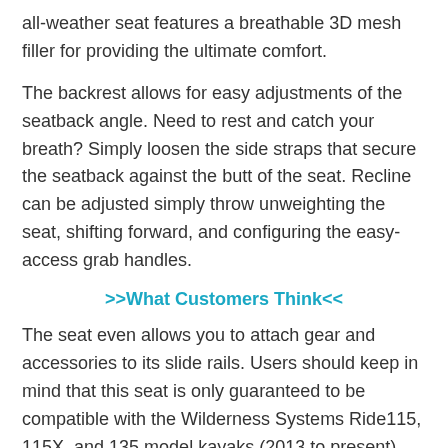all-weather seat features a breathable 3D mesh filler for providing the ultimate comfort.
The backrest allows for easy adjustments of the seatback angle. Need to rest and catch your breath? Simply loosen the side straps that secure the seatback against the butt of the seat. Recline can be adjusted simply throw unweighting the seat, shifting forward, and configuring the easy-access grab handles.
>>What Customers Think<<
The seat even allows you to attach gear and accessories to its slide rails. Users should keep in mind that this seat is only guaranteed to be compatible with the Wilderness Systems Ride115, 115X, and 135 model kayaks (2013 to present). Yes, the seat may be on the pricey side, but nothing is worth more